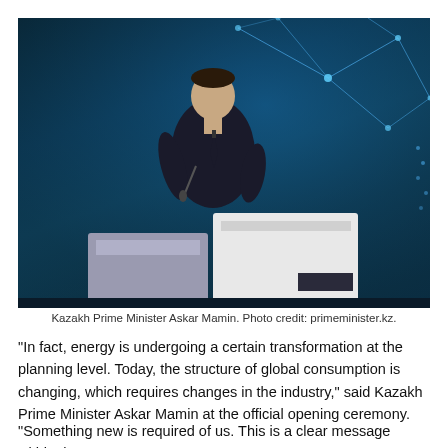[Figure (photo): Kazakh Prime Minister Askar Mamin speaking at a podium on a dark blue stage with network/tech graphics in the background.]
Kazakh Prime Minister Askar Mamin. Photo credit: primeminister.kz.
“In fact, energy is undergoing a certain transformation at the planning level. Today, the structure of global consumption is changing, which requires changes in the industry,” said Kazakh Prime Minister Askar Mamin at the official opening ceremony.
“Something new is required of us. This is a clear message within the